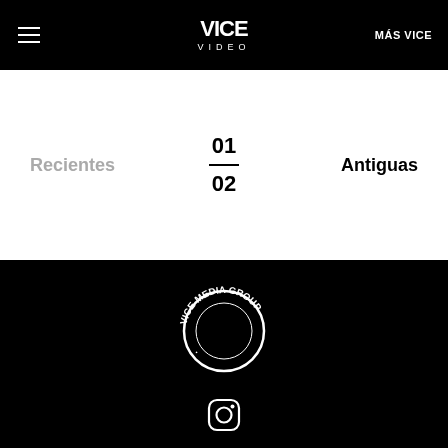VICE VIDEO | MÁS VICE
Recientes
01 / 02
Antiguas
[Figure (logo): VICE MEDIA GROUP circular logo in white on black background]
[Figure (logo): Instagram icon in white on black background]
SOBRE NOSOTROS
© 2020 VICE MEDIA LLC